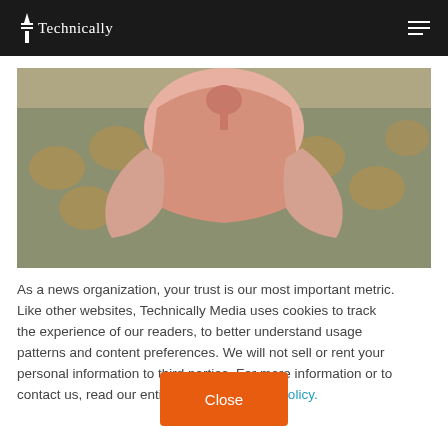Technically
[Figure (photo): A person wearing a pink polo shirt seated on a patterned sofa, photo cropped to show torso and arms only, no face visible]
As a news organization, your trust is our most important metric. Like other websites, Technically Media uses cookies to track the experience of our readers, to better understand usage patterns and content preferences. We will not sell or rent your personal information to third parties. For more information or to contact us, read our entire Ethics & Privacy Policy.
Close